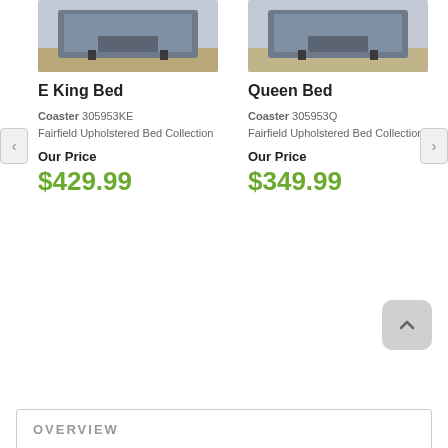[Figure (photo): Photo of E King Bed upholstered in dark grey fabric]
[Figure (photo): Photo of Queen Bed upholstered in dark grey fabric]
E King Bed
Queen Bed
Coaster 305953KE
Coaster 305953Q
Fairfield Upholstered Bed Collection
Fairfield Upholstered Bed Collection
Our Price $429.99
Our Price $349.99
OVERVIEW